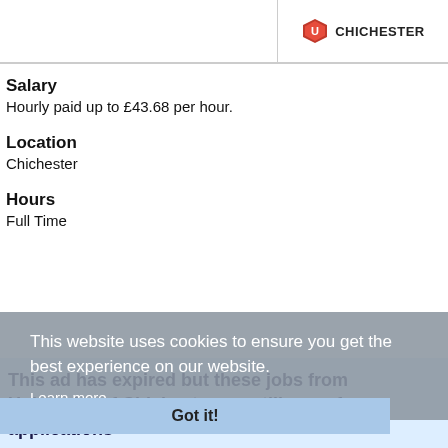[Figure (logo): University of Chichester logo with shield badge and text CHICHESTER]
Salary
Hourly paid up to £43.68 per hour.
Location
Chichester
Hours
Full Time
This website uses cookies to ensure you get the best experience on our website.
Learn more
Got it!
This ad has expired but these jobs from University of Chichester are still open for applications
Cleaners - Part-time Permanent - Salary range £19,209 to £19,623 pro rata per annum. Chichester